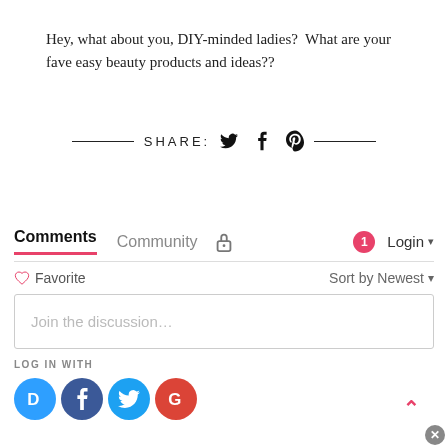Hey, what about you, DIY-minded ladies?  What are your fave easy beauty products and ideas??
[Figure (infographic): Share bar with decorative horizontal lines on left and right, text SHARE: followed by Twitter, Facebook, and Pinterest social icons]
Comments Community [lock icon] [notification badge: 1] Login
♡ Favorite   Sort by Newest
Join the discussion...
LOG IN WITH
[Figure (infographic): Social login icons: Disqus (D, blue), Facebook (f, dark blue), Twitter (bird, light blue), Google (G, red)]